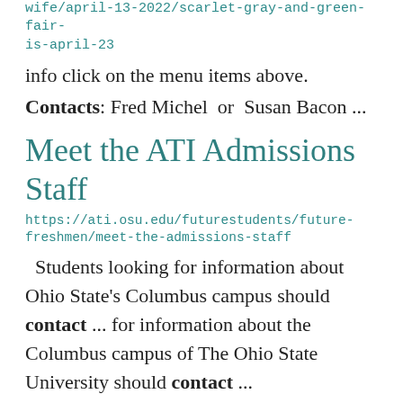wife/april-13-2022/scarlet-gray-and-green-fair-is-april-23
info click on the menu items above.
Contacts: Fred Michel  or  Susan Bacon ...
Meet the ATI Admissions Staff
https://ati.osu.edu/futurestudents/future-freshmen/meet-the-admissions-staff
Students looking for information about Ohio State's Columbus campus should contact ... for information about the Columbus campus of The Ohio State University should contact ...
Disability Services
https://ati.osu.edu/disability-services